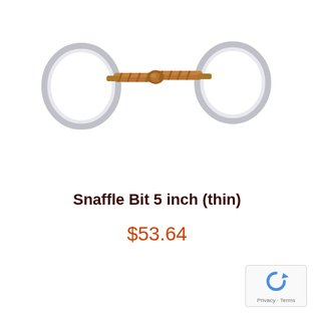[Figure (photo): A horse snaffle bit with two silver rings on each end connected by a copper/bronze colored bar mouthpiece with a center link, photographed on a white background]
Snaffle Bit 5 inch (thin)
$53.64
[Figure (logo): Google reCAPTCHA badge with recycling arrow logo and Privacy - Terms text]